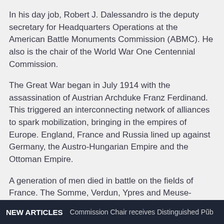In his day job, Robert J. Dalessandro is the deputy secretary for Headquarters Operations at the American Battle Monuments Commission (ABMC). He also is the chair of the World War One Centennial Commission.
The Great War began in July 1914 with the assassination of Austrian Archduke Franz Ferdinand. This triggered an interconnecting network of alliances to spark mobilization, bringing in the empires of Europe. England, France and Russia lined up against Germany, the Austro-Hungarian Empire and the Ottoman Empire.
A generation of men died in battle on the fields of France. The Somme, Verdun, Ypres and Meuse-Argonne became killing grounds. On the Eastern Front, millions of Germans, Austrians and Russians battled. Overall, about 16.5 million people were killed in the war.
At first, the United States stayed out of it. In fact, when
NEW ARTICLES   Commission Chair receives Distinguished Pub